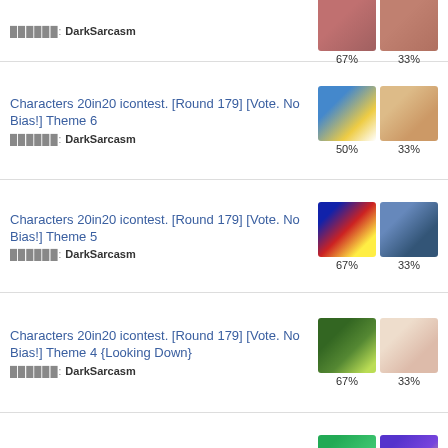Characters 20in20 icontest. [Round 179] [Vote. No Bias!] Theme 4 (partial top) — ██████: DarkSarcasm — 67% / 33%
Characters 20in20 icontest. [Round 179] [Vote. No Bias!] Theme 6 — ██████: DarkSarcasm — 50% / 33%
Characters 20in20 icontest. [Round 179] [Vote. No Bias!] Theme 5 — ██████: DarkSarcasm — 67% / 33%
Characters 20in20 icontest. [Round 179] [Vote. No Bias!] Theme 4 {Looking Down} — ██████: DarkSarcasm — 67% / 33%
Characters 20in20 icontest. [Round 179] [Vote. No Bias!] Theme 3 — █████ — 33% / 33%